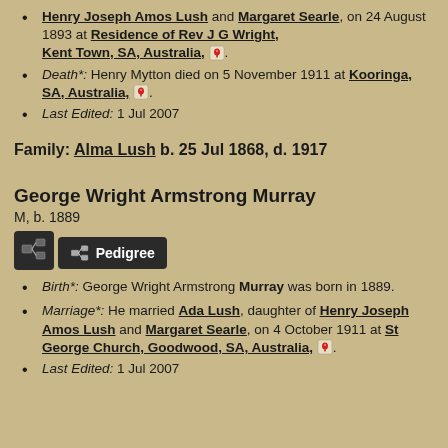Marriage*: [Henry Mytton married] Henry Joseph Amos Lush and Margaret Searle, on 24 August 1893 at Residence of Rev J G Wright, Kent Town, SA, Australia,
Death*: Henry Mytton died on 5 November 1911 at Kooringa, SA, Australia,
Last Edited: 1 Jul 2007
Family: Alma Lush b. 25 Jul 1868, d. 1917
George Wright Armstrong Murray
M, b. 1889
[Figure (other): Pedigree chart icon button]
Birth*: George Wright Armstrong Murray was born in 1889.
Marriage*: He married Ada Lush, daughter of Henry Joseph Amos Lush and Margaret Searle, on 4 October 1911 at St George Church, Goodwood, SA, Australia,
Last Edited: 1 Jul 2007